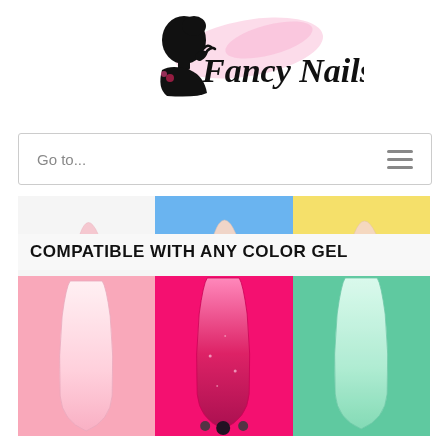[Figure (logo): Fancy Nails logo — black silhouette of woman's profile with hand near mouth, pink floral brush stroke behind, italic black text 'Fancy Nails']
Go to...
[Figure (photo): Product promotional image showing nail tips compatible with any color gel. Top strip shows partial nail tips on white, blue and yellow backgrounds. Below a bold label 'COMPATIBLE WITH ANY COLOR GEL', three panels side by side: pink background with light pink ombre nail tip, hot pink background with glitter/dark pink nail tip, teal/mint background with clear mint nail tip. Three dark dots visible at bottom center of hot pink panel.]